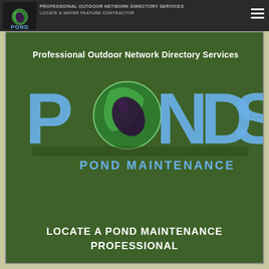Professional Outdoor Network Directory Services - PONDS POND MAINTENANCE | LOCATE A WATER FEATURE CONTRACTOR
[Figure (logo): PONDS Pond Maintenance logo on dark green background. Large text reads 'Professional Outdoor Network Directory Services' above the word 'PONDS' in large blue 3D letters with a green globe/pond icon replacing the 'O'. Below reads 'POND MAINTENANCE' in bold blue letters.]
LOCATE A POND MAINTENANCE PROFESSIONAL